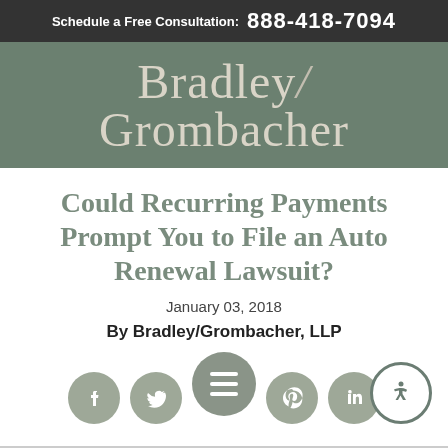Schedule a Free Consultation: 888-418-7094
[Figure (logo): Bradley/Grombacher law firm logo on dark green background]
Could Recurring Payments Prompt You to File an Auto Renewal Lawsuit?
January 03, 2018
By Bradley/Grombacher, LLP